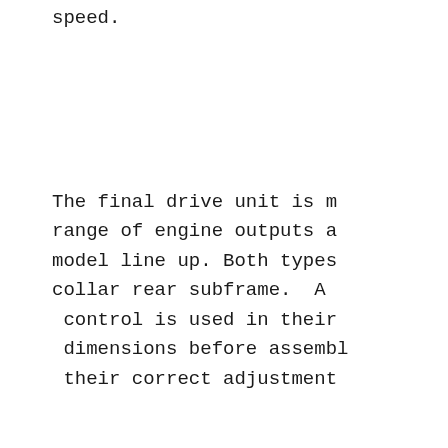speed.
The final drive unit is m range of engine outputs a model line up. Both types collar rear subframe. A control is used in their dimensions before assembl their correct adjustment